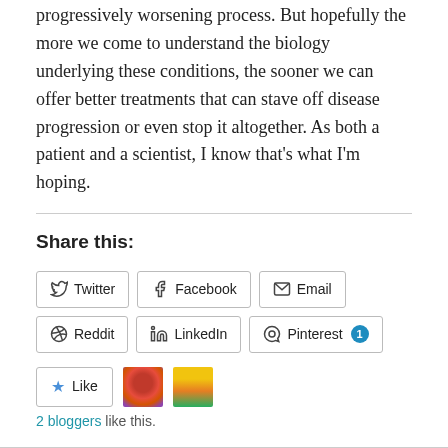progressively worsening process. But hopefully the more we come to understand the biology underlying these conditions, the sooner we can offer better treatments that can stave off disease progression or even stop it altogether. As both a patient and a scientist, I know that's what I'm hoping.
Share this:
Twitter  Facebook  Email  Reddit  LinkedIn  Pinterest 1
Like  2 bloggers like this.
August 18, 2019   2 Replies